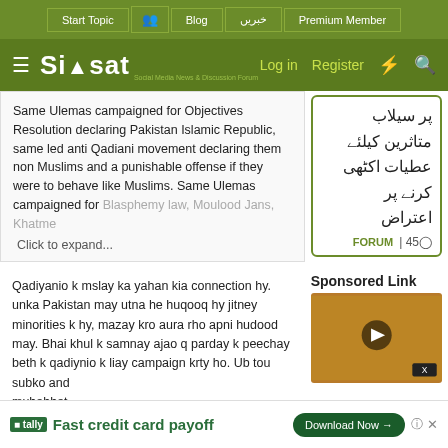Start Topic | [icon] | Blog | خبریں | Premium Member
Siasat.pk — Log in | Register
Same Ulemas campaigned for Objectives Resolution declaring Pakistan Islamic Republic, same led anti Qadiani movement declaring them non Muslims and a punishable offense if they were to behave like Muslims. Same Ulemas campaigned for Blasphemy law, Moulood Jans, Khatme Click to expand...
پر سیلاب متاثرین کیلئے عطیات اکٹھی کرنے پر اعتراض
◯45 | FORUM
Qadiyanio k mslay ka yahan kia connection hy. unka Pakistan may utna he huqooq hy jitney minorities k hy, mazay kro aura rho apni hudood may. Bhai khul k samnay ajao q parday k peechay beth k qadiynio k liay campaign krty ho. Ub tou subko and muhabbat
Sponsored Link
[Figure (photo): Video thumbnail showing jewelry/gold items with a play button overlay]
Fast credit card payoff — Tally — Download Now